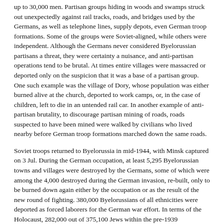up to 30,000 men. Partisan groups hiding in woods and swamps struck out unexpectedly against rail tracks, roads, and bridges used by the Germans, as well as telephone lines, supply depots, even German troop formations. Some of the groups were Soviet-aligned, while others were independent. Although the Germans never considered Byelorussian partisans a threat, they were certainty a nuisance, and anti-partisan operations tend to be brutal. At times entire villages were massacred or deported only on the suspicion that it was a base of a partisan group. One such example was the village of Dory, whose population was either burned alive at the church, deported to work camps, or, in the case of children, left to die in an untended rail car. In another example of anti-partisan brutality, to discourage partisan mining of roads, roads suspected to have been mined were walked by civilians who lived nearby before German troop formations marched down the same roads.
Soviet troops returned to Byelorussia in mid-1944, with Minsk captured on 3 Jul. During the German occupation, at least 5,295 Byelorussian towns and villages were destroyed by the Germans, some of which were among the 4,000 destroyed during the German invasion, re-built, only to be burned down again either by the occupation or as the result of the new round of fighting. 380,000 Byelorussians of all ethnicities were deported as forced laborers for the German war effort. In terms of the Holocaust, 282,000 out of 375,100 Jews within the pre-1939 Byelorussia borders and 528,000 out of 723,500 Jews in the West Byelorussia territory gained from Poland were killed. While the Nazi Party men were certainly the architects of the Holocaust in Byelorussia, there were many Byelorussians who took active roles in the rounding up, deporting, and killing of Jews in their own country; the stereotype that linked communism and Jews played a role in this.
As the European War ended, a total of 2,230,000 Byelorussian civilians had lost their lives, which constituted about 25% of the country's population. The cities of Minsk and Vitsebsk were virtually destroyed after heavy fighting between German and Soviet troops; an estimated 80% of buildings and infrastructure in these cities were deemed destroyed.